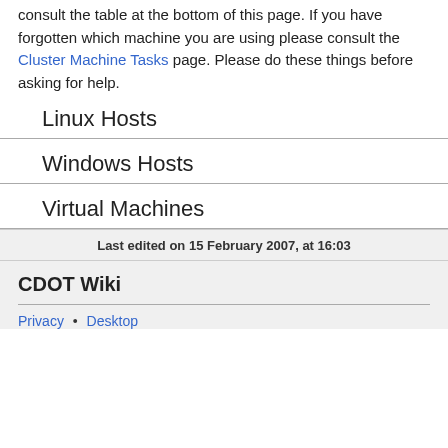consult the table at the bottom of this page. If you have forgotten which machine you are using please consult the Cluster Machine Tasks page. Please do these things before asking for help.
Linux Hosts
Windows Hosts
Virtual Machines
Last edited on 15 February 2007, at 16:03
CDOT Wiki
Privacy • Desktop